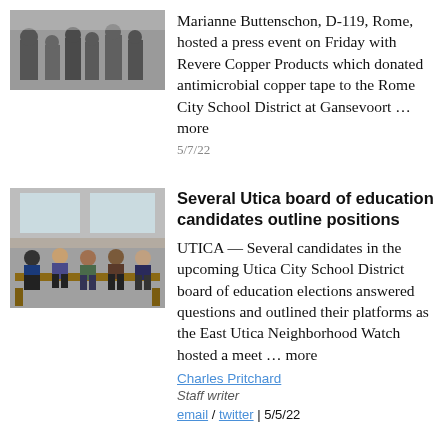[Figure (photo): Group of people at a press event, partially visible at top]
Marianne Buttenschon, D-119, Rome, hosted a press event on Friday with Revere Copper Products which donated antimicrobial copper tape to the Rome City School District at Gansevoort … more
5/7/22
[Figure (photo): People sitting on benches in a building lobby or hallway, some wearing masks]
Several Utica board of education candidates outline positions
UTICA — Several candidates in the upcoming Utica City School District board of education elections answered questions and outlined their platforms as the East Utica Neighborhood Watch hosted a meet … more
Charles Pritchard
Staff writer
email / twitter | 5/5/22